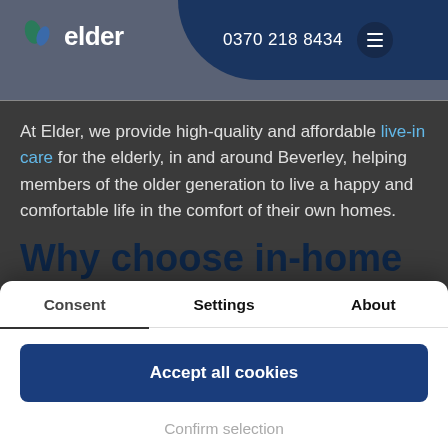elder | 0370 218 8434
At Elder, we provide high-quality and affordable live-in care for the elderly, in and around Beverley, helping members of the older generation to live a happy and comfortable life in the comfort of their own homes.
Why choose in-home care?
Not everyone is happy about the idea of going into
Consent | Settings | About
Accept all cookies
Confirm selection